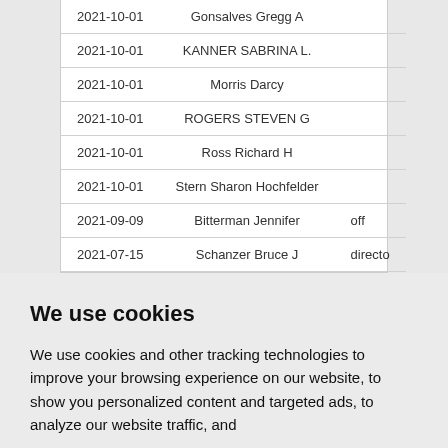| Date | Name | Role |
| --- | --- | --- |
| 2021-10-01 | Gonsalves Gregg A |  |
| 2021-10-01 | KANNER SABRINA L. |  |
| 2021-10-01 | Morris Darcy |  |
| 2021-10-01 | ROGERS STEVEN G |  |
| 2021-10-01 | Ross Richard H |  |
| 2021-10-01 | Stern Sharon Hochfelder |  |
| 2021-09-09 | Bitterman Jennifer | off |
| 2021-07-15 | Schanzer Bruce J | directo |
We use cookies
We use cookies and other tracking technologies to improve your browsing experience on our website, to show you personalized content and targeted ads, to analyze our website traffic, and